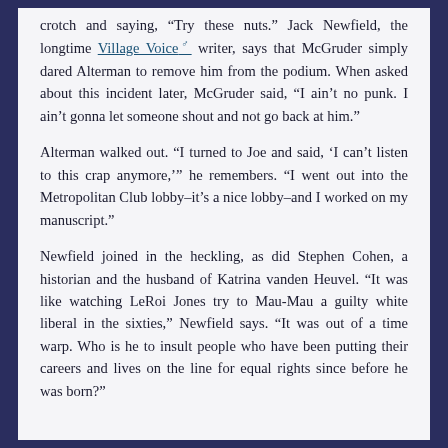crotch and saying, "Try these nuts." Jack Newfield, the longtime Village Voice writer, says that McGruder simply dared Alterman to remove him from the podium. When asked about this incident later, McGruder said, "I ain't no punk. I ain't gonna let someone shout and not go back at him."
Alterman walked out. "I turned to Joe and said, 'I can't listen to this crap anymore,'" he remembers. "I went out into the Metropolitan Club lobby–it's a nice lobby–and I worked on my manuscript."
Newfield joined in the heckling, as did Stephen Cohen, a historian and the husband of Katrina vanden Heuvel. "It was like watching LeRoi Jones try to Mau-Mau a guilty white liberal in the sixties," Newfield says. "It was out of a time warp. Who is he to insult people who have been putting their careers and lives on the line for equal rights since before he was born?"
Can you see his face as he says this? The teeth gritted, the lip curled up, the words "Ungrateful